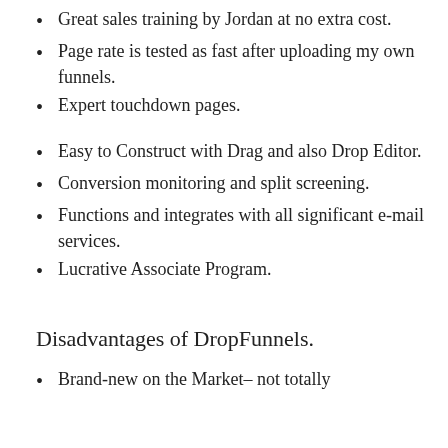Great sales training by Jordan at no extra cost.
Page rate is tested as fast after uploading my own funnels.
Expert touchdown pages.
Easy to Construct with Drag and also Drop Editor.
Conversion monitoring and split screening.
Functions and integrates with all significant e-mail services.
Lucrative Associate Program.
Disadvantages of DropFunnels.
Brand-new on the Market– not totally